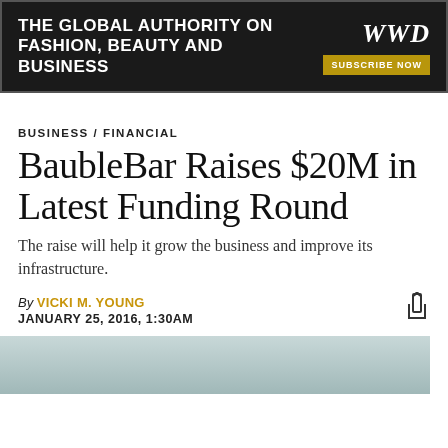[Figure (logo): WWD banner: black background with bold white text 'THE GLOBAL AUTHORITY ON FASHION, BEAUTY AND BUSINESS', WWD logo in white italic serif font, and a gold 'SUBSCRIBE NOW' button]
BUSINESS / FINANCIAL
BaubleBar Raises $20M in Latest Funding Round
The raise will help it grow the business and improve its infrastructure.
By VICKI M. YOUNG
JANUARY 25, 2016, 1:30AM
[Figure (photo): Partial photo of a person, cropped at bottom of page]